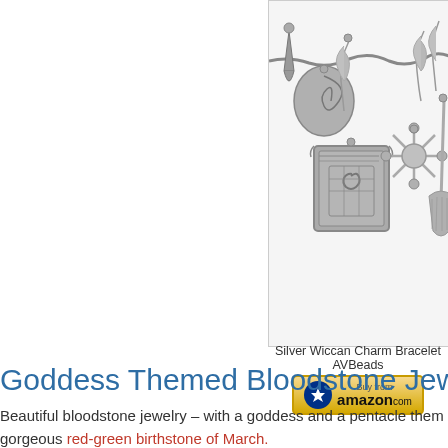[Figure (photo): Silver Wiccan charm bracelet with various charms including a spell book, feathers, swirls, and a broom]
Silver Wiccan Charm Bracelet AVBeads
[Figure (other): Buy from amazon.com button]
Goddess Themed Bloodstone Jewelry
Beautiful bloodstone jewelry – with a goddess and a pentacle them gorgeous red-green birthstone of March.
[Figure (photo): Partial photo of a necklace/jewelry item with a Sucuri security badge overlay showing 'secured by SUCURI']